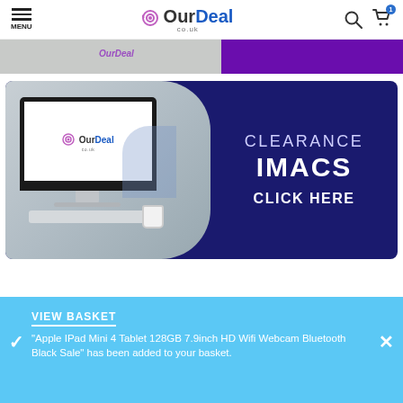MENU | OurDeal.co.uk | Search | Cart
[Figure (screenshot): Partial cropped banner showing OurDeal branding on left and purple background on right]
[Figure (infographic): Clearance iMacs promotional banner with photo of iMac computer on desk and text: CLEARANCE IMACS CLICK HERE on dark navy background]
VIEW BASKET
"Apple IPad Mini 4 Tablet 128GB 7.9inch HD Wifi Webcam Bluetooth Black Sale" has been added to your basket.